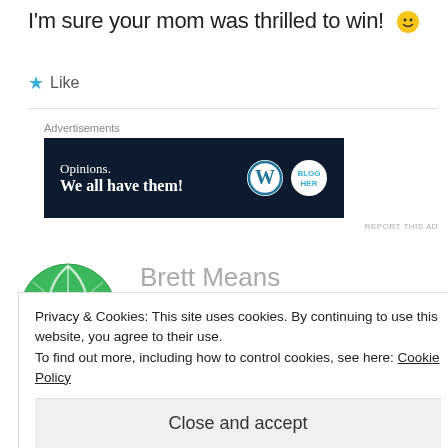I'm sure your mom was thrilled to win! 🙂
★ Like
[Figure (infographic): Advertisement banner: dark navy background with text 'Opinions. We all have them!' and WordPress and BlogHer logos on the right.]
REPORT THIS AD
[Figure (illustration): Green geometric globe/grid avatar icon for Brett Means]
Brett Means
FEBRUARY 19, 2016 AT 9:13 AM
S
Privacy & Cookies: This site uses cookies. By continuing to use this website, you agree to their use.
To find out more, including how to control cookies, see here: Cookie Policy
Close and accept